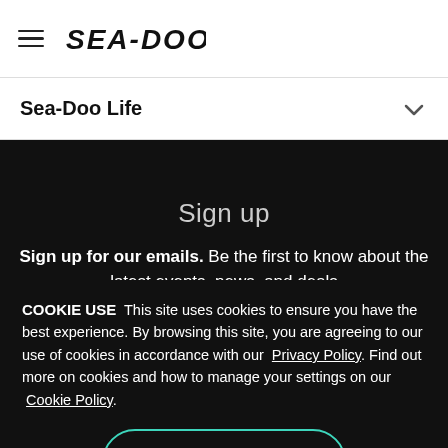SEA-DOO (logo)
Sea-Doo Life
Sign up
Sign up for our emails. Be the first to know about the latest events, news, and deals
COOKIE USE  This site uses cookies to ensure you have the best experience. By browsing this site, you are agreeing to our use of cookies in accordance with our Privacy Policy. Find out more on cookies and how to manage your settings on our Cookie Policy.
OK